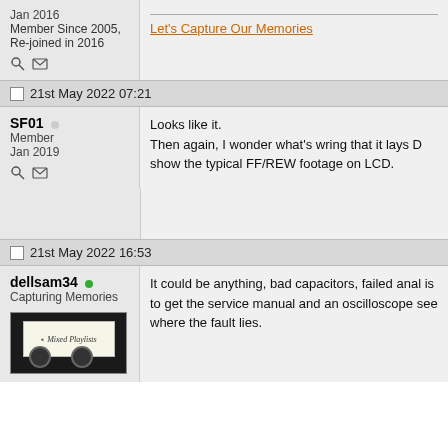Jan 2016
Member Since 2005, Re-joined in 2016
Let's Capture Our Memories
21st May 2022 07:21
SF01
Member
Jan 2019
Looks like it.
Then again, I wonder what's wring that it lays D show the typical FF/REW footage on LCD.
21st May 2022 16:53
dellsam34
Capturing Memories
It could be anything, bad capacitors, failed anal is to get the service manual and an oscilloscope see where the fault lies.